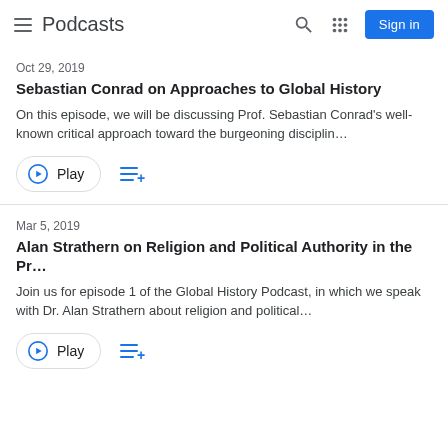Podcasts
Oct 29, 2019
Sebastian Conrad on Approaches to Global History
On this episode, we will be discussing Prof. Sebastian Conrad's well-known critical approach toward the burgeoning disciplin…
Mar 5, 2019
Alan Strathern on Religion and Political Authority in the Pr…
Join us for episode 1 of the Global History Podcast, in which we speak with Dr. Alan Strathern about religion and political…